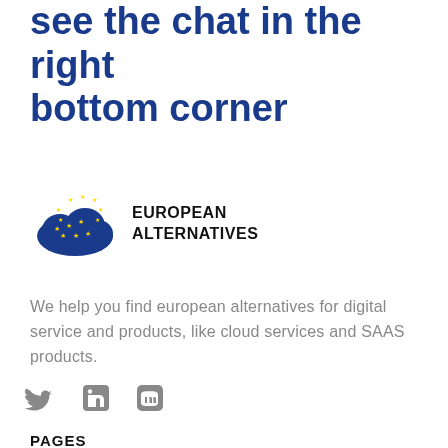see the chat in the right bottom corner
[Figure (logo): European Alternatives logo: blue cloud with yellow EU stars, text EUROPEAN ALTERNATIVES]
We help you find european alternatives for digital service and products, like cloud services and SAAS products.
[Figure (illustration): Social media icons: Twitter bird, LinkedIn square, Mastodon square]
PAGES